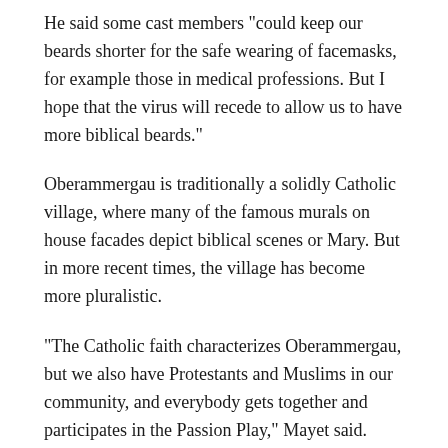He said some cast members "could keep our beards shorter for the safe wearing of facemasks, for example those in medical professions. But I hope that the virus will recede to allow us to have more biblical beards."
Oberammergau is traditionally a solidly Catholic village, where many of the famous murals on house facades depict biblical scenes or Mary. But in more recent times, the village has become more pluralistic.
"The Catholic faith characterizes Oberammergau, but we also have Protestants and Muslims in our community, and everybody gets together and participates in the Passion Play," Mayet said. "This year, for the first time, we have Muslims taking part."
Prayer is still an important feature behind the scenes, Mayet said.
"Before every performance there’s a group prayer, led by either the Catholic or Protestant chaplain, and the Our Father is also said. Of course, there are some who have left the church, and they might not take part in the prayer, but at the Passion Play the religious is always